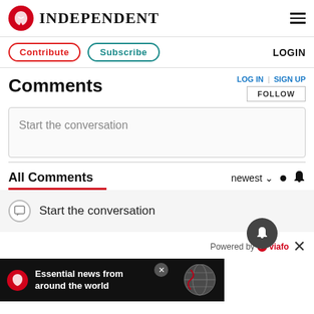INDEPENDENT
Contribute  Subscribe  LOGIN
Comments
LOG IN | SIGN UP
FOLLOW
Start the conversation
All Comments
newest
Start the conversation
Powered by viafo
Essential news from around the world